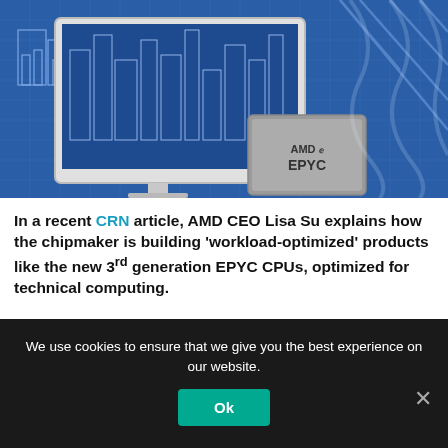[Figure (photo): AMD EPYC processor chip shown in front of a computer monitor displaying a blue blueprint/architectural design. Background has blue technical design patterns.]
In a recent CRN article, AMD CEO Lisa Su explains how the chipmaker is building 'workload-optimized' products like the new 3rd generation EPYC CPUs, optimized for technical computing.
We use cookies to ensure that we give you the best experience on our website.